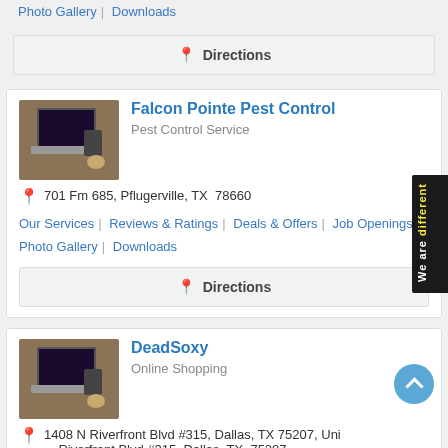Photo Gallery | Downloads
[Figure (other): Directions button with pin icon]
Falcon Pointe Pest Control - Pest Control Service
701 Fm 685, Pflugerville, TX  78660
Our Services | Reviews & Ratings | Deals & Offers | Job Openings | Photo Gallery | Downloads
[Figure (other): Directions button with pin icon]
DeadSoxy - Online Shopping
1408 N Riverfront Blvd #315, Dallas, TX 75207, Uni Riverfront Blvd #315, Dallas, TX  75207
Products & Services | Reviews & Ratings | Deals & Offers | Job Openings | Photo Gallery | Downloads